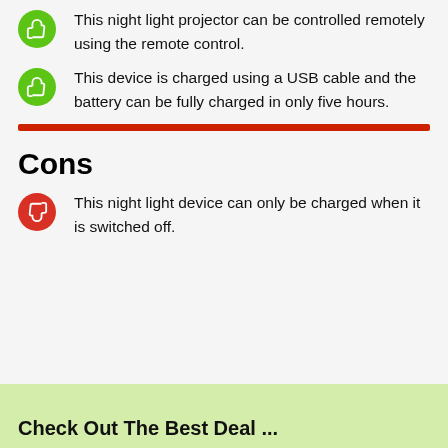This night light projector can be controlled remotely using the remote control.
This device is charged using a USB cable and the battery can be fully charged in only five hours.
Cons
This night light device can only be charged when it is switched off.